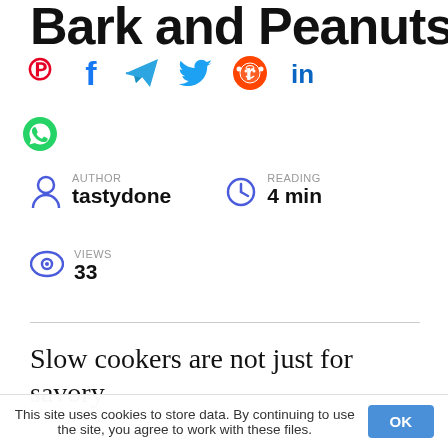Bark and Peanuts
[Figure (infographic): Row of social media share icons: Pinterest (red), Facebook (dark blue), Telegram (blue), Twitter (blue), Reddit (orange), LinkedIn (blue), and WhatsApp (green)]
AUTHOR
tastydone
READING
4 min
VIEWS
33
Slow cookers are not just for savory
This site uses cookies to store data. By continuing to use the site, you agree to work with these files.